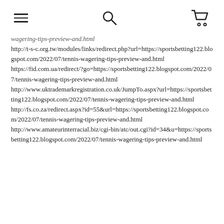[menu icon] [search icon] [cart icon]
wagering-tips-preview-and.html
http://t-s-c.org.tw/modules/links/redirect.php?url=https://sportsbetting122.blogspot.com/2022/07/tennis-wagering-tips-preview-and.html
https://fid.com.ua/redirect/?go=https://sportsbetting122.blogspot.com/2022/07/tennis-wagering-tips-preview-and.html
http://www.uktrademarkregistration.co.uk/JumpTo.aspx?url=https://sportsbetting122.blogspot.com/2022/07/tennis-wagering-tips-preview-and.html
http://fs.co.za/redirect.aspx?id=55&url=https://sportsbetting122.blogspot.com/2022/07/tennis-wagering-tips-preview-and.html
http://www.amateurinterracial.biz/cgi-bin/atc/out.cgi?id=34&u=https://sportsbetting122.blogspot.com/2022/07/tennis-wagering-tips-preview-and.html